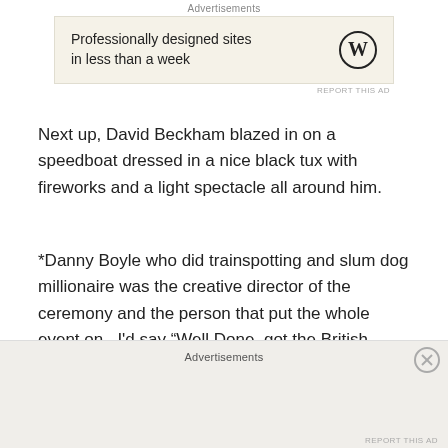Advertisements
[Figure (other): Advertisement banner: WordPress logo with text 'Professionally designed sites in less than a week' on a beige background]
Next up, David Beckham blazed in on a speedboat dressed in a nice black tux with fireworks and a light spectacle all around him.
*Danny Boyle who did trainspotting and slum dog millionaire was the creative director of the ceremony and the person that put the whole event on.  I’d say “Well Done, got the British vybe, some great tunes and that sure looked like a TON of work to Coordinate and build the whole thng!”
Advertisements